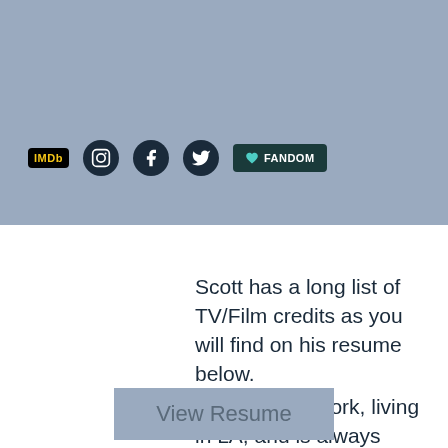SCOTT DEFALCO
Scott has a long list of TV/Film credits as you will find on his resume below.
He loves his work, living in LA, and is always striving to get better at his craft. He even acts as a Mentor/Acting coach to upcoming talent. Scott has a drive and passion for his work that most think is insane, but as he says, "You gotta be a little insane to work and be successful in this business."
View Resume